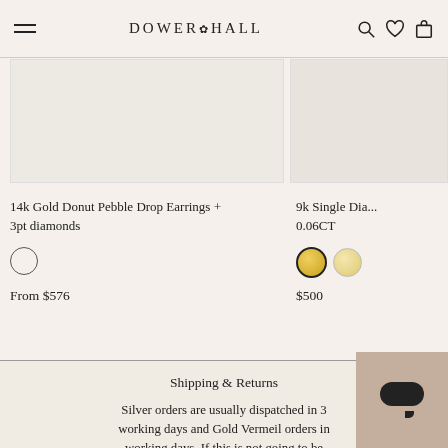DOWER & HALL — navigation header with logo, hamburger menu, search, wishlist, and bag icons
[Figure (photo): Product image for 14k Gold Donut Pebble Drop Earrings + 3pt diamonds, cream/beige background]
[Figure (photo): Partial product image for 9k Single Diamond earring, 0.06CT, cream/beige background]
14k Gold Donut Pebble Drop Earrings + 3pt diamonds
9k Single Dia... 0.06CT
From $576
$500
Shipping & Returns
Silver orders are usually dispatched in 3 working days and Gold Vermeil orders in working days. If this is not going to be